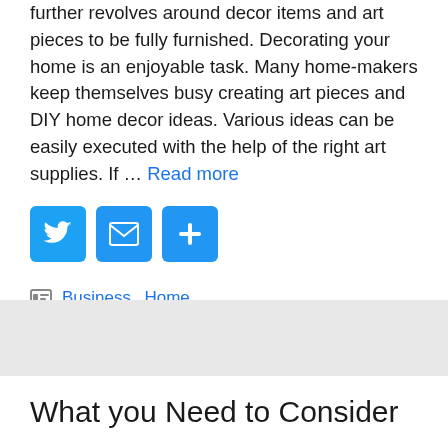further revolves around decor items and art pieces to be fully furnished. Decorating your home is an enjoyable task. Many home-makers keep themselves busy creating art pieces and DIY home decor ideas. Various ideas can be easily executed with the help of the right art supplies. If … Read more
[Figure (other): Social sharing buttons: Twitter (blue bird icon), Email (blue envelope icon), More/Add (blue plus icon)]
Categories: Business, Home
Tags: Arts and Crafts, Arts and crafts supplies
Leave a comment
What you Need to Consider